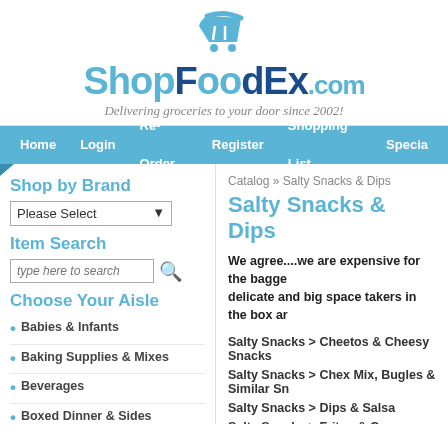[Figure (logo): ShopFoodEx.com logo with shopping cart icon and tagline 'Delivering groceries to your door since 2002!']
Home | Login | Re-Order | Register | Shopping List | Special
Shop by Brand
Item Search
Choose Your Aisle
Babies & Infants
Baking Supplies & Mixes
Beverages
Boxed Dinner & Sides
Catalog » Salty Snacks & Dips
Salty Snacks & Dips
We agree....we are expensive for the bagged delicate and big space takers in the box ar
Salty Snacks > Cheetos & Cheesy Snacks
Salty Snacks > Chex Mix, Bugles & Similar Sn
Salty Snacks > Dips & Salsa
Salty Snacks > Fritos & Corn Chips
Salty Snacks > Pita & Bagel Chips
Salty Snacks > Popchips
Salty Snacks > Potato Chips